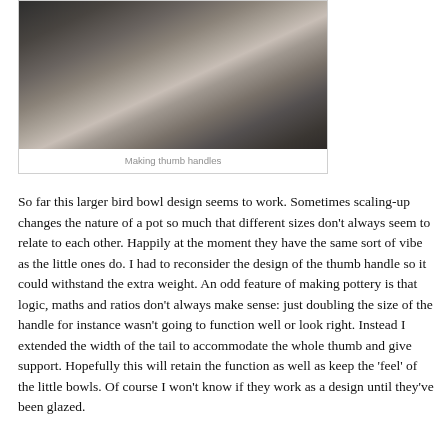[Figure (photo): Overhead/close-up photograph of dark pottery items including a bowl and thumb handles on a wooden surface, in muted grey and brown tones]
Making thumb handles
So far this larger bird bowl design seems to work. Sometimes scaling-up changes the nature of a pot so much that different sizes don't always seem to relate to each other. Happily at the moment they have the same sort of vibe as the little ones do. I had to reconsider the design of the thumb handle so it could withstand the extra weight. An odd feature of making pottery is that logic, maths and ratios don't always make sense: just doubling the size of the handle for instance wasn't going to function well or look right. Instead I extended the width of the tail to accommodate the whole thumb and give support. Hopefully this will retain the function as well as keep the ‘feel’ of the little bowls. Of course I won’t know if they work as a design until they’ve been glazed.